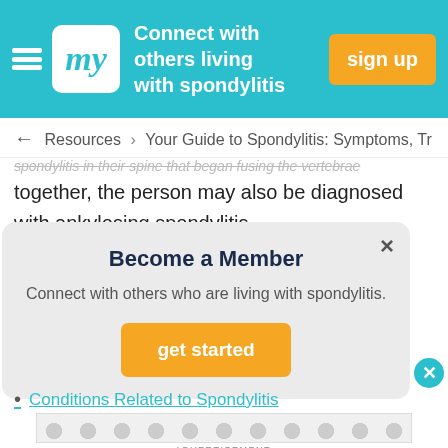my — Connect with others living with spondylitis — sign up
← Resources > Your Guide to Spondylitis: Symptoms, Tr
spondylitis in their spine that began fusing the vertebrae together, the person may also be diagnosed with ankylosing spondylitis.
Become a Member
Connect with others who are living with spondylitis.
get started
Conditions Related to Spondylitis
ADVERTISEMENT